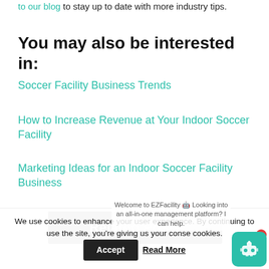to our blog to stay up to date with more industry tips.
You may also be interested in:
Soccer Facility Business Trends
How to Increase Revenue at Your Indoor Soccer Facility
Marketing Ideas for an Indoor Soccer Facility Business
Related Posts
We use cookies to enhance your user experience. By continuing to use the site, you're giving us your conse cookies.
Accept  Read More